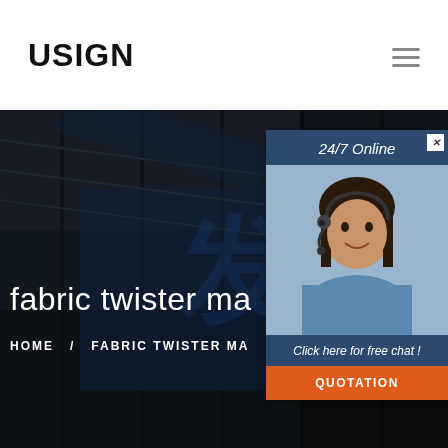USIGN
[Figure (illustration): Hamburger menu icon (three horizontal lines)]
[Figure (photo): Dark industrial warehouse interior with blue signage featuring Chinese characters; serves as hero background image]
fabric twister ma
HOME  /  FABRIC TWISTER MA
[Figure (photo): Customer service representative smiling, wearing headset, in a 24/7 Online chat popup widget]
24/7 Online
Click here for free chat !
QUOTATION